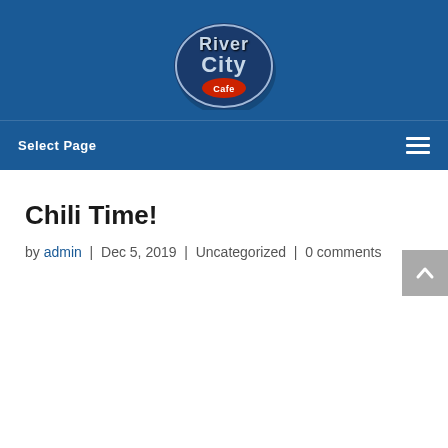[Figure (logo): River City Cafe logo — stylized text in blue and silver tones with a red oval accent]
Select Page
Chili Time!
by admin | Dec 5, 2019 | Uncategorized | 0 comments